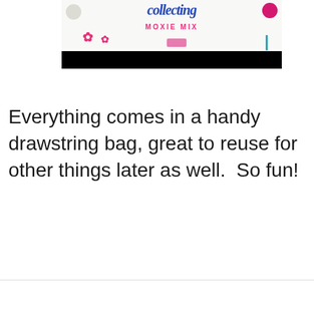[Figure (photo): A crafting-themed image showing yarn balls, cross/flower shapes in pink, a circular surface with cursive lettering and 'MOXIE MIX' text in pink, and craft supplies. A black bar partially obscures the lower portion of the image.]
Everything comes in a handy drawstring bag, great to reuse for other things later as well.  So fun!